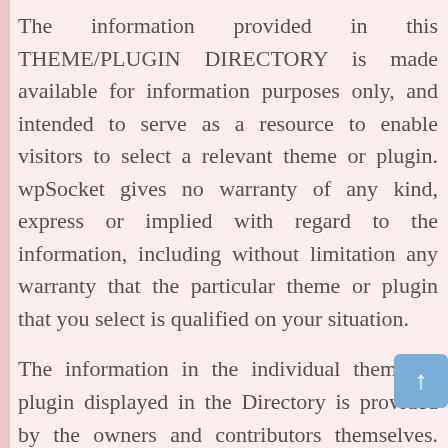The information provided in this THEME/PLUGIN DIRECTORY is made available for information purposes only, and intended to serve as a resource to enable visitors to select a relevant theme or plugin. wpSocket gives no warranty of any kind, express or implied with regard to the information, including without limitation any warranty that the particular theme or plugin that you select is qualified on your situation.
The information in the individual theme or plugin displayed in the Directory is provided by the owners and contributors themselves. wpSocket gives no warranty as to the accuracy of the information and will not be liable to you